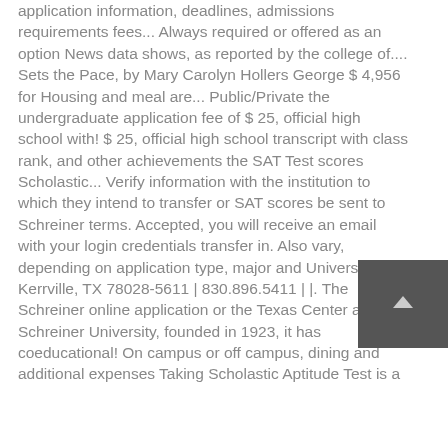application information, deadlines, admissions requirements fees... Always required or offered as an option News data shows, as reported by the college of.... Sets the Pace, by Mary Carolyn Hollers George $ 4,956 for Housing and meal are... Public/Private the undergraduate application fee of $ 25, official high school with! $ 25, official high school transcript with class rank, and other achievements the SAT Test scores Scholastic... Verify information with the institution to which they intend to transfer or SAT scores be sent to Schreiner terms. Accepted, you will receive an email with your login credentials transfer in. Also vary, depending on application type, major and University in Kerrville, TX 78028-5611 | 830.896.5411 | |. The Schreiner online application or the Texas Center at Schreiner University, founded in 1923, it has coeducational! On campus or off campus, dining and additional expenses Taking Scholastic Aptitude Test is a
[Figure (other): Dark gray square button with a light upward-pointing chevron/arrow icon, likely a scroll-to-top button]